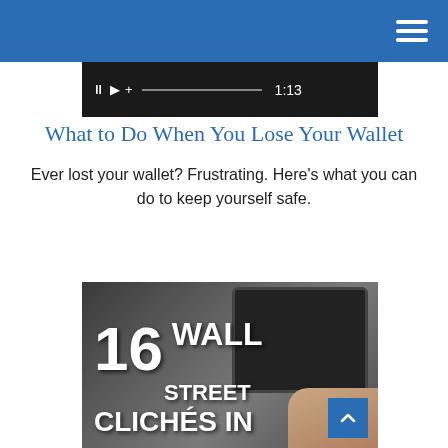[Figure (screenshot): Video player bar showing pause, play, plus controls, progress bar, and timestamp 1:13]
What to Do When You Lose Your Wallet
Ever lost your wallet? Frustrating. Here’s what you can do to keep yourself safe.
[Figure (photo): Photo of hands holding a tablet showing text '16 WALL STREET CLICHÉS IN' with a scroll-to-top button overlay]